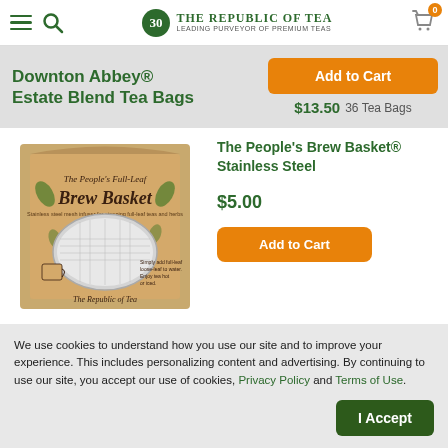The Republic of Tea — 30 — Leading Purveyor of Premium Teas
Downton Abbey® Estate Blend Tea Bags
$13.50  36 Tea Bags
The People's Brew Basket® Stainless Steel
[Figure (photo): Product photo of The People's Full-Leaf Brew Basket in its kraft paper box packaging, branded with The Republic of Tea logo. The box shows a stainless steel mesh bowl infuser.]
$5.00
We use cookies to understand how you use our site and to improve your experience. This includes personalizing content and advertising. By continuing to use our site, you accept our use of cookies, Privacy Policy and Terms of Use.